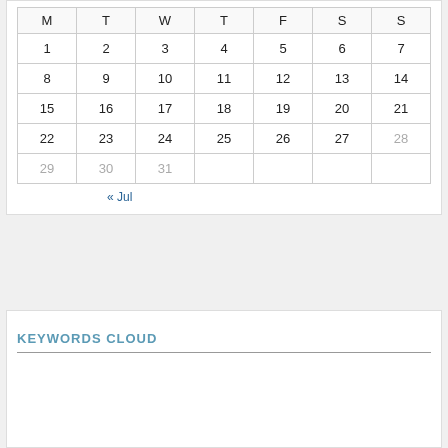| M | T | W | T | F | S | S |
| --- | --- | --- | --- | --- | --- | --- |
| 1 | 2 | 3 | 4 | 5 | 6 | 7 |
| 8 | 9 | 10 | 11 | 12 | 13 | 14 |
| 15 | 16 | 17 | 18 | 19 | 20 | 21 |
| 22 | 23 | 24 | 25 | 26 | 27 | 28 |
| 29 | 30 | 31 |  |  |  |  |
« Jul
KEYWORDS CLOUD